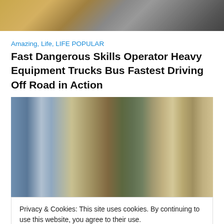[Figure (photo): Top cropped photo showing a large white vehicle or truck near rocky/sandy terrain]
Amazing, Life, LIFE POPULAR
Fast Dangerous Skills Operator Heavy Equipment Trucks Bus Fastest Driving Off Road in Action
[Figure (photo): Street scene with vehicles, people, trees, and colorful buildings in what appears to be a busy market or town area]
Privacy & Cookies: This site uses cookies. By continuing to use this website, you agree to their use.
To find out more, including how to control cookies, see here: Cookie Policy
Close and accept
Amazing, Life, LIFE POPULAR